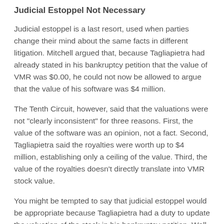Judicial Estoppel Not Necessary
Judicial estoppel is a last resort, used when parties change their mind about the same facts in different litigation. Mitchell argued that, because Tagliapietra had already stated in his bankruptcy petition that the value of VMR was $0.00, he could not now be allowed to argue that the value of his software was $4 million.
The Tenth Circuit, however, said that the valuations were not "clearly inconsistent" for three reasons. First, the value of the software was an opinion, not a fact. Second, Tagliapietra said the royalties were worth up to $4 million, establishing only a ceiling of the value. Third, the value of the royalties doesn't directly translate into VMR stock value.
You might be tempted to say that judicial estoppel would be appropriate because Tagliapietra had a duty to update the valuation of the stock in his bankruptcy petition. Well, you'd